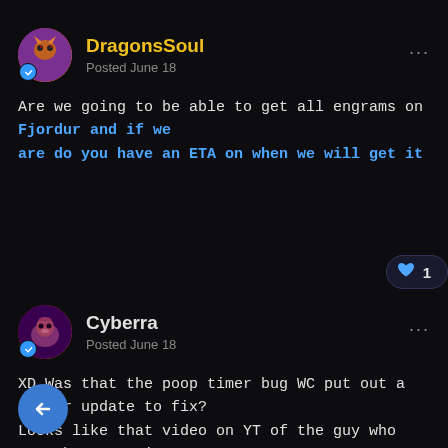DragonsSoul
Posted June 18
Are we going to be able to get all engrams on Fjordur and if we are do you have an ETA on when we will get it
Cyberra
Posted June 18
XD Was that the poop timer bug WC put out a server update to fix? Looks like that video on YT of the guy who set the poop timer to 0. Hilarious